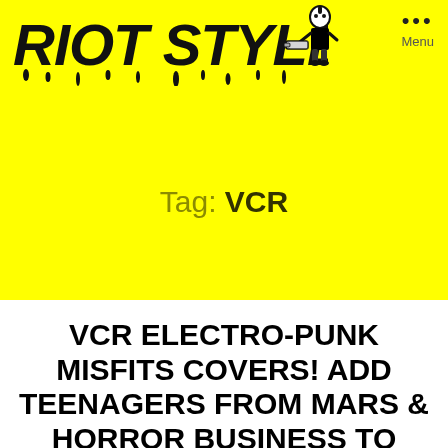RIOT STYLE
Tag: VCR
VCR ELECTRO-PUNK MISFITS COVERS! ADD TEENAGERS FROM MARS & HORROR BUSINESS TO YOUR